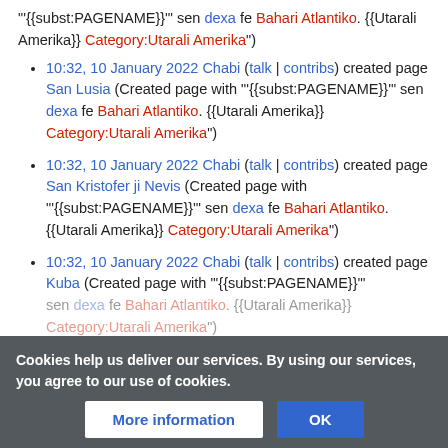""'{{subst:PAGENAME}}'""‘ sen dexa fe Bahari Atlantiko. {{Utarali Amerika}} Category:Utarali Amerika")
10:32, 10 January 2022 Chabi (talk | contribs) created page San Lusia (Created page with ""'{{subst:PAGENAME}}'""‘ sen dexa fe Bahari Atlantiko. {{Utarali Amerika}} Category:Utarali Amerika")
10:32, 10 January 2022 Chabi (talk | contribs) created page San Kristofer ji Nevis (Created page with ""'{{subst:PAGENAME}}'""‘ sen dexa fe Bahari Atlantiko. {{Utarali Amerika}} Category:Utarali Amerika")
10:32, 10 January 2022 Chabi (talk | contribs) created page Kuba (Created page with ""'{{subst:PAGENAME}}'""‘ sen dexa fe Bahari Atlantiko. {{Utarali Amerika}} Category:Utarali Amerika")
10:32, 10 Ja... (talk | contribs) created
Cookies help us deliver our services. By using our services, you agree to our use of cookies.